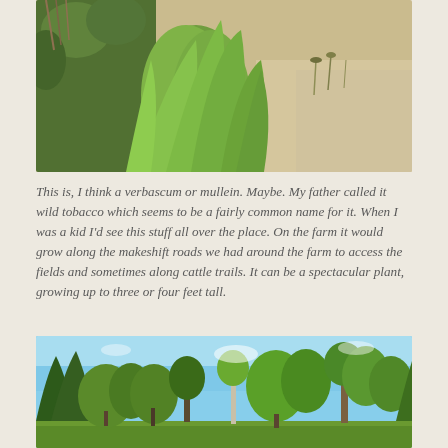[Figure (photo): Close-up photograph of large green broad-leafed plants (verbascum/mullein) growing in a field with sandy soil and grassy surroundings in bright daylight.]
This is, I think a verbascum or mullein. Maybe. My father called it wild tobacco which seems to be a fairly common name for it. When I was a kid I'd see this stuff all over the place. On the farm it would grow along the makeshift roads we had around the farm to access the fields and sometimes along cattle trails. It can be a spectacular plant, growing up to three or four feet tall.
[Figure (photo): Landscape photograph showing a treeline of mixed deciduous and evergreen trees against a bright blue sky, taken in summer with full green foliage.]